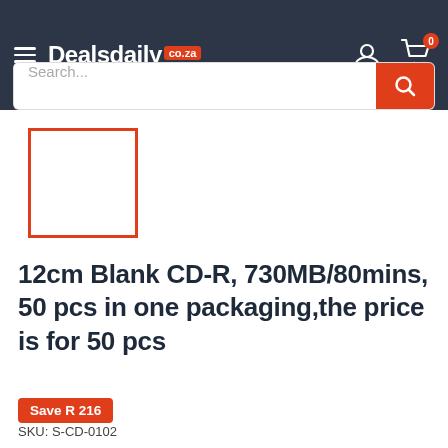[Figure (screenshot): Dealsdaily.co.za website header with logo, hamburger menu, user icon, and cart icon showing 0 items]
[Figure (other): Product image placeholder with orange/red border outline, empty white interior]
12cm Blank CD-R, 730MB/80mins, 50 pcs in one packaging,the price is for 50 pcs
Save R 216
SKU: S-CD-0102